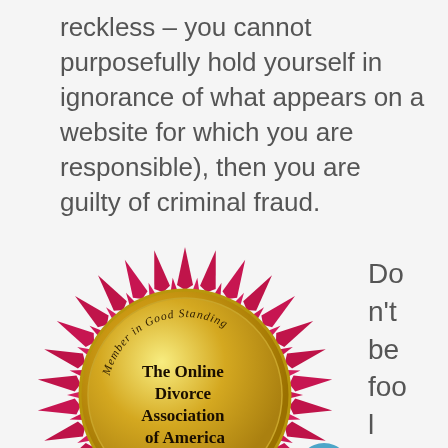reckless – you cannot purposefully hold yourself in ignorance of what appears on a website for which you are responsible), then you are guilty of criminal fraud.
[Figure (illustration): Gold and crimson rosette seal badge reading 'Member in Good Standing – The Online Divorce Association of America', with a chat bubble icon overlay in the bottom right]
Don't be fooled by my divorce